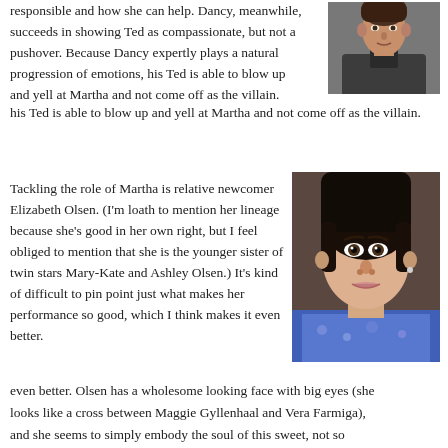responsible and how she can help. Dancy, meanwhile, succeeds in showing Ted as compassionate, but not a pushover. Because Dancy expertly plays a natural progression of emotions, his Ted is able to blow up and yell at Martha and not come off as the villain.
[Figure (photo): Headshot of a man in a dark shirt and grey jacket]
Tackling the role of Martha is relative newcomer Elizabeth Olsen. (I'm loath to mention her lineage because she's good in her own right, but I feel obliged to mention that she is the younger sister of twin stars Mary-Kate and Ashley Olsen.) It's kind of difficult to pin point just what makes her performance so good, which I think makes it even better. Olsen has a wholesome looking face with big eyes (she looks like a cross between Maggie Gyllenhaal and Vera Farmiga), and she seems to simply embody the soul of this sweet, not so innocent and very confused girl. Though she doesn't have much
[Figure (photo): Portrait of a young woman with dark hair, wearing a blue patterned top]